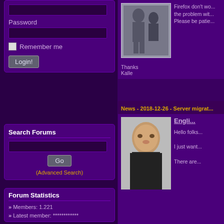Password
Remember me
Login!
Search Forums
Go
(Advanced Search)
Forum Statistics
» Members: 1.221
» Latest member: ************
[Figure (photo): Black and white photo of two people]
Firefox don't wo... the problem wit... Please be patie...
Thanks
Kalle
News - 2018-12-26 - Server migrat...
[Figure (photo): Color photo of a man sitting at a desk]
Engli...
Hello folks...
I just want...
There are...